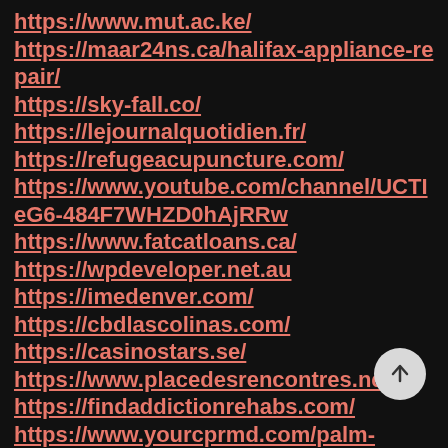https://www.mut.ac.ke/
https://maar24ns.ca/halifax-appliance-repair/
https://sky-fall.co/
https://lejournalquotidien.fr/
https://refugeacupuncture.com/
https://www.youtube.com/channel/UCTIeG6-484F7WHZD0hAjRRw
https://www.fatcatloans.ca/
https://wpdeveloper.net.au
https://imedenver.com/
https://cbdlascolinas.com/
https://casinostars.se/
https://www.placedesrencontres.net/
https://findaddictionrehabs.com/
https://www.yourcprmd.com/palm-